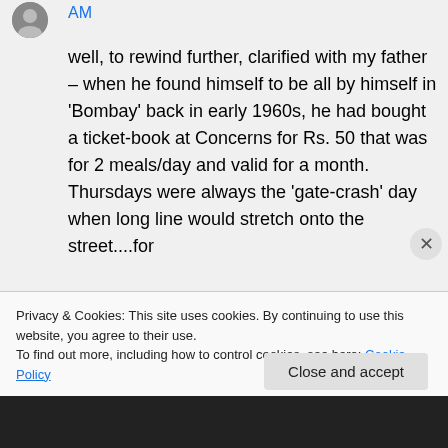AM
well, to rewind further, clarified with my father – when he found himself to be all by himself in 'Bombay' back in early 1960s, he had bought a ticket-book at Concerns for Rs. 50 that was for 2 meals/day and valid for a month. Thursdays were always the 'gate-crash' day when long line would stretch onto the street....for
Privacy & Cookies: This site uses cookies. By continuing to use this website, you agree to their use.
To find out more, including how to control cookies, see here: Cookie Policy
Close and accept